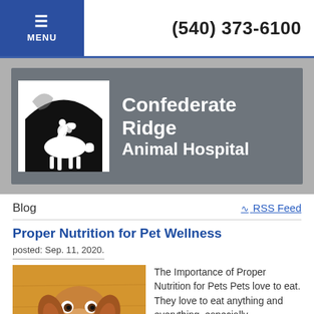MENU  (540) 373-6100
[Figure (logo): Confederate Ridge Animal Hospital logo banner with horse and rider silhouette on dark background over grey banner]
Blog
RSS Feed
Proper Nutrition for Pet Wellness
posted: Sep. 11, 2020.
[Figure (photo): Photo of a brown and white dog looking up at camera with tongue out, on a wooden floor background]
The Importance of Proper Nutrition for Pets Pets love to eat. They love to eat anything and everything, especially